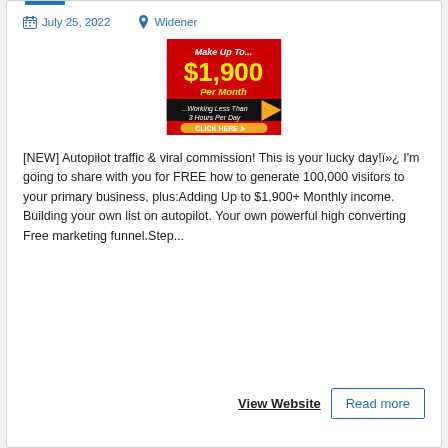July 25, 2022   Widener
[Figure (illustration): Advertisement banner: red background with yellow text '$1,900 Per Month', black section with '...Working Less Than 3 Hours Per Day' and an arrow, orange CLICK HERE button]
[NEW] Autopilot traffic & viral commission! This is your lucky day!ï»¿ I'm going to share with you for FREE how to generate 100,000 visitors to your primary business, plus:Adding Up to $1,900+ Monthly income. Building your own list on autopilot. Your own powerful high converting Free marketing funnel.Step...
View Website
Read more